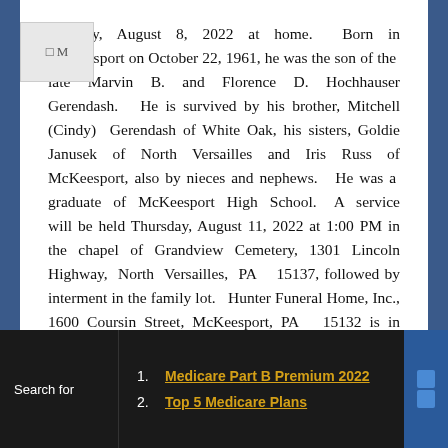Monday, August 8, 2022 at home.  Born in McKeesport on October 22, 1961, he was the son of the late Marvin B. and Florence D. Hochhauser Gerendash.  He is survived by his brother, Mitchell (Cindy) Gerendash of White Oak, his sisters, Goldie Janusek of North Versailles and Iris Russ of McKeesport, also by nieces and nephews.  He was a graduate of McKeesport High School.  A service will be held Thursday, August 11, 2022 at 1:00 PM in the chapel of Grandview Cemetery, 1301 Lincoln Highway, North Versailles, PA  15137, followed by interment in the family lot.  Hunter Funeral Home, Inc., 1600 Coursin Street, McKeesport, PA  15132 is in charge of arrangements.
1. Medicare Part B Premium 2022
2. Top 5 Medicare Plans